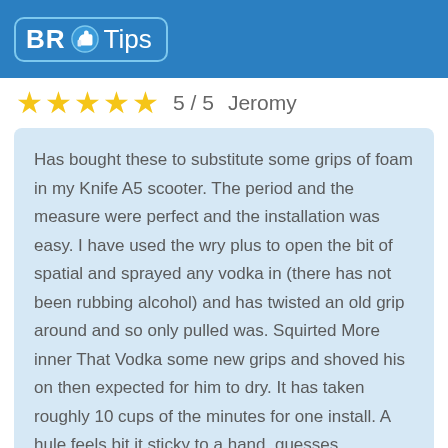BR Tips
5 / 5   Jeromy
Has bought these to substitute some grips of foam in my Knife A5 scooter. The period and the measure were perfect and the installation was easy. I have used the wry plus to open the bit of spatial and sprayed any vodka in (there has not been rubbing alcohol) and has twisted an old grip around and so only pulled was. Squirted More inner That Vodka some new grips and shoved his on then expected for him to dry. It has taken roughly 10 cups of the minutes for one install. A hule feels bit it sticky to a hand, guesses